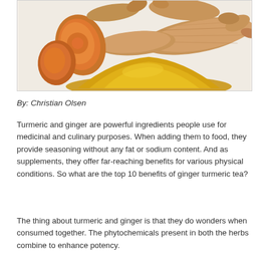[Figure (photo): Photo of turmeric root pieces, sliced turmeric showing orange interior, and a pile of yellow turmeric powder on a white background.]
By: Christian Olsen
Turmeric and ginger are powerful ingredients people use for medicinal and culinary purposes. When adding them to food, they provide seasoning without any fat or sodium content. And as supplements, they offer far-reaching benefits for various physical conditions. So what are the top 10 benefits of ginger turmeric tea?
The thing about turmeric and ginger is that they do wonders when consumed together. The phytochemicals present in both the herbs combine to enhance potency.